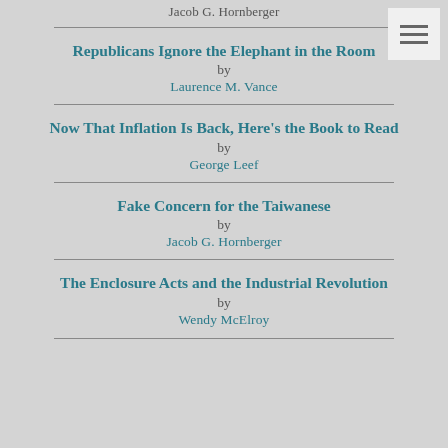Jacob G. Hornberger
Republicans Ignore the Elephant in the Room
by
Laurence M. Vance
Now That Inflation Is Back, Here's the Book to Read
by
George Leef
Fake Concern for the Taiwanese
by
Jacob G. Hornberger
The Enclosure Acts and the Industrial Revolution
by
Wendy McElroy